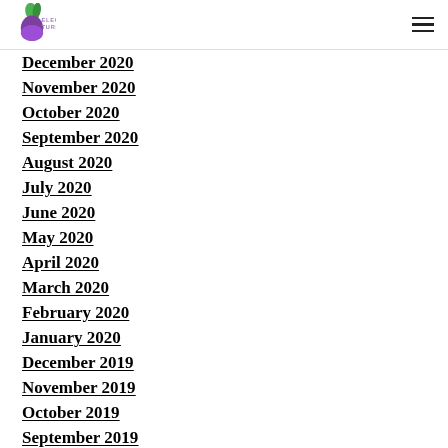Electric Turnip logo and navigation menu
December 2020
November 2020
October 2020
September 2020
August 2020
July 2020
June 2020
May 2020
April 2020
March 2020
February 2020
January 2020
December 2019
November 2019
October 2019
September 2019
August 2019